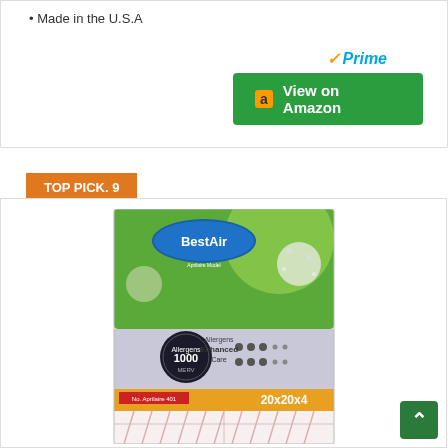Made in the U.S.A
[Figure (other): Amazon Prime logo with checkmark and 'Prime' text in blue italic]
[Figure (other): Green 'View on Amazon' button with Amazon 'a' logo]
TOP PICK. 9
[Figure (photo): BestAir 20x20x4 air filter product box with green background showing dandelion and MERV 1000 rating badge, filter visible at bottom]